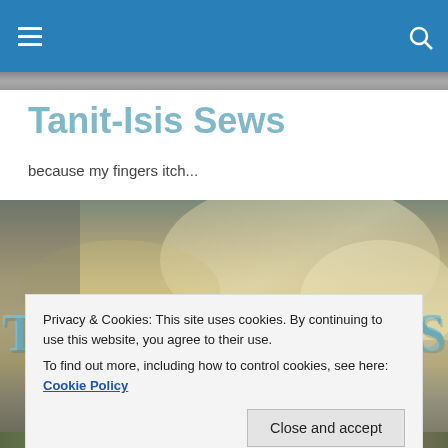Navigation bar with hamburger menu and search icon
Tanit-Isis Sews
because my fingers itch...
[Figure (photo): Hero banner image showing fabric/textile with 'TANIT-ISIS SEWS' text overlaid]
Privacy & Cookies: This site uses cookies. By continuing to use this website, you agree to their use.
To find out more, including how to control cookies, see here: Cookie Policy
Close and accept
[Figure (photo): Bottom strip showing outdoor/nature scene]